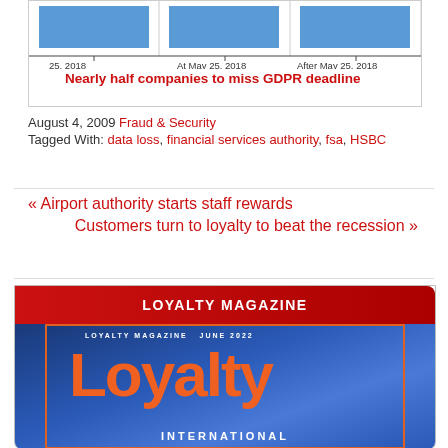[Figure (bar-chart): Partial bar chart showing GDPR compliance timeline bars]
Nearly half companies to miss GDPR deadline
August 4, 2009 Fraud & Security
Tagged With: data loss, financial services authority, fsa, HSBC
« Airport authority starts staff rewards
Customers turn to loyalty to beat the recession »
[Figure (illustration): Loyalty Magazine banner with magazine cover showing orange 'Loyalty' text on blue background with LOYALTY MAGAZINE JUNE 2022 header and INTERNATIONAL text at bottom]